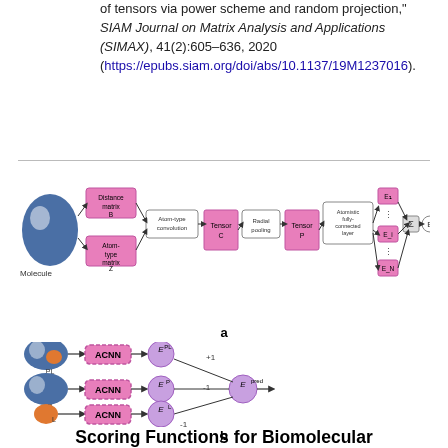of tensors via power scheme and random projection," SIAM Journal on Matrix Analysis and Applications (SIMAX), 41(2):605–636, 2020 (https://epubs.siam.org/doi/abs/10.1137/19M1237016).
[Figure (flowchart): Neural network architecture diagram (ACNN) showing a molecule input processed through distance matrix B and atom-type matrix Z, then through atom-type convolution, Tensor C, radial pooling, Tensor P, atomistic fully-connected layer, producing energies E1...EN, summed to E.]
a
[Figure (flowchart): Diagram showing three ACNN branches: protein-ligand complex (PL) → ACNN → E^PL (+1), protein alone (P) → ACNN → E^P (-1), ligand alone (L) → ACNN → E^L (-1), combined to produce E^pred.]
b
Scoring Functions for Biomolecular